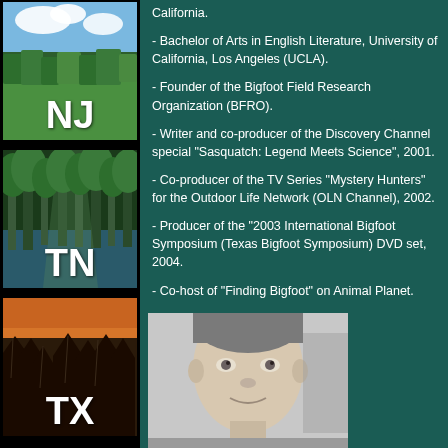[Figure (photo): NJ state thumbnail with forest and sky, white NJ letters]
[Figure (photo): TN state thumbnail with dark forest and water, white TN letters]
[Figure (photo): TX state thumbnail with sunset and tree silhouettes, white TX letters]
California.
- Bachelor of Arts in English Literature, University of California, Los Angeles (UCLA).
- Founder of the Bigfoot Field Research Organization (BFRO).
- Writer and co-producer of the Discovery Channel special "Sasquatch: Legend Meets Science", 2001.
- Co-producer of the TV Series "Mystery Hunters" for the Outdoor Life Network (OLN Channel), 2002.
- Producer of the "2003 International Bigfoot Symposium (Texas Bigfoot Symposium) DVD set, 2004.
- Co-host of "Finding Bigfoot" on Animal Planet.
- Current Director of the BFRO
[Figure (photo): Black and white headshot photo of a man]